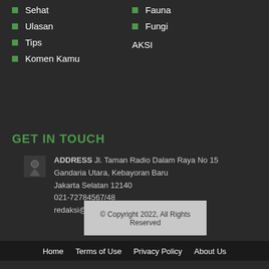Sehat
Ulasan
Tips
Komen Kamu
Fauna
Fungi
AKSI
GET IN TOUCH
ADDRESS Jl. Taman Radio Dalam Raya No 15
Gandaria Utara, Kebayoran Baru
Jakarta Selatan 12140
021-72784567/48
redaksi@greenersmagz.com
© Copyright 2022, All Rights Reserved
Home   Terms of Use   Privacy Policy   About Us